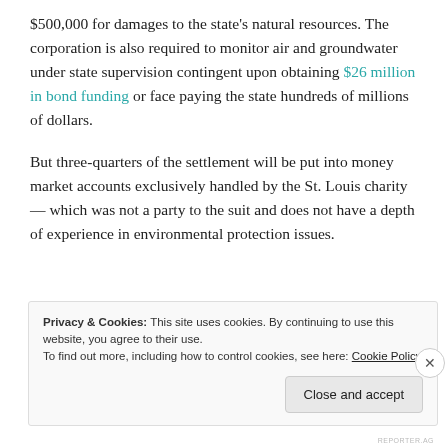$500,000 for damages to the state's natural resources. The corporation is also required to monitor air and groundwater under state supervision contingent upon obtaining $26 million in bond funding or face paying the state hundreds of millions of dollars.
But three-quarters of the settlement will be put into money market accounts exclusively handled by the St. Louis charity — which was not a party to the suit and does not have a depth of experience in environmental protection issues.
Privacy & Cookies: This site uses cookies. By continuing to use this website, you agree to their use. To find out more, including how to control cookies, see here: Cookie Policy
Close and accept